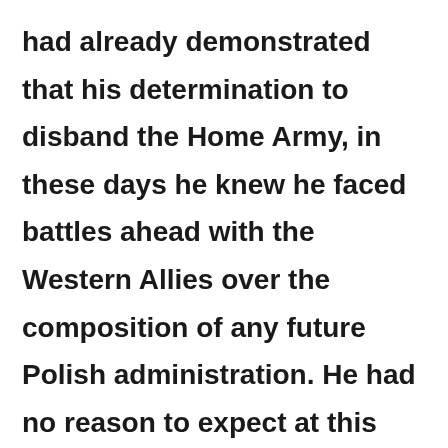had already demonstrated that his determination to disband the Home Army, in these days he knew he faced battles ahead with the Western Allies over the composition of any future Polish administration. He had no reason to expect at this point that the Allies would eventually go along with his wishes and recognize a modified version of his